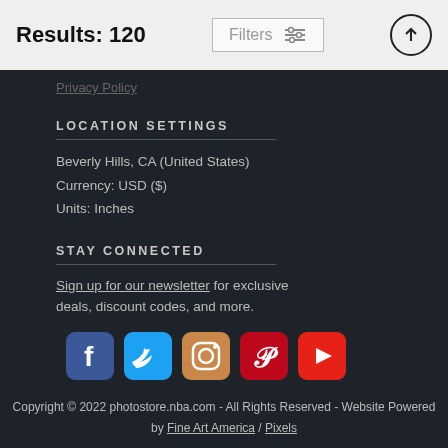Results: 120
Filters
Privacy Policy
LOCATION SETTINGS
Beverly Hills, CA (United States)
Currency: USD ($)
Units: Inches
STAY CONNECTED
Sign up for our newsletter for exclusive deals, discount codes, and more.
[Figure (infographic): Row of 5 social media icons: Facebook (blue), Twitter (cyan), Instagram (brown gradient), Pinterest (red), YouTube (red)]
Copyright © 2022 photostore.nba.com - All Rights Reserved - Website Powered by Fine Art America / Pixels